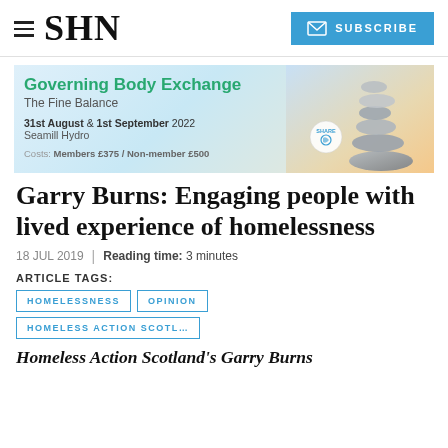SHN | SUBSCRIBE
[Figure (infographic): Advertisement banner for Governing Body Exchange event: The Fine Balance, 31st August & 1st September 2022, Seamill Hydro. Costs: Members £375 / Non-member £500. Features balanced stones image and SHARE logo.]
Garry Burns: Engaging people with lived experience of homelessness
18 JUL 2019 | Reading time: 3 minutes
ARTICLE TAGS:
HOMELESSNESS
OPINION
HOMELESS ACTION SCOTL…
Homeless Action Scotland's Garry Burns